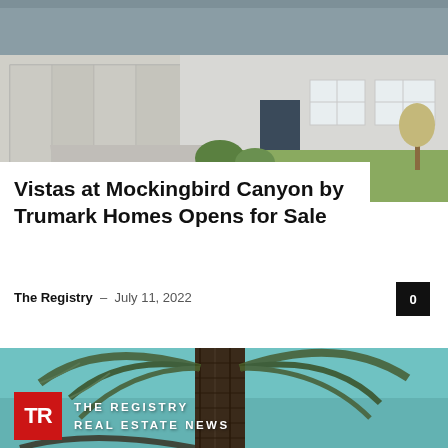[Figure (photo): Exterior photo of a suburban single-family home with gray siding, white garage door, and landscaped front yard]
Vistas at Mockingbird Canyon by Trumark Homes Opens for Sale
The Registry – July 11, 2022
[Figure (photo): Close-up of a palm tree against a teal/blue sky, with The Registry Real Estate News logo overlay]